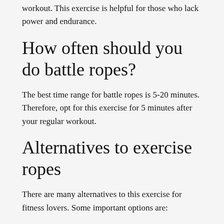You can do battle ropes after your regular workout. This exercise is helpful for those who lack power and endurance.
How often should you do battle ropes?
The best time range for battle ropes is 5-20 minutes. Therefore, opt for this exercise for 5 minutes after your regular workout.
Alternatives to exercise ropes
There are many alternatives to this exercise for fitness lovers. Some important options are:
Dead Ball Slams